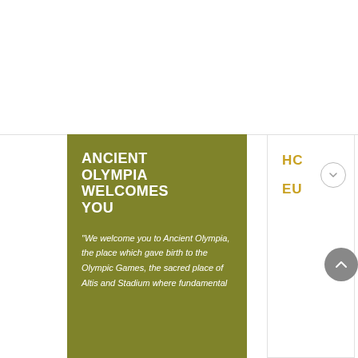ANCIENT OLYMPIA WELCOMES YOU
"We welcome you to Ancient Olympia, the place which gave birth to the Olympic Games, the sacred place of Altis and Stadium where fundamental
HC EU